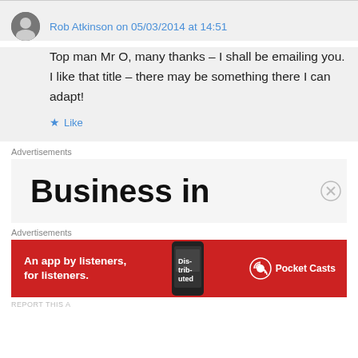Rob Atkinson on 05/03/2014 at 14:51
Top man Mr O, many thanks – I shall be emailing you. I like that title – there may be something there I can adapt!
Like
Advertisements
[Figure (screenshot): Advertisement banner showing 'Business in' large bold text on light grey background]
Advertisements
[Figure (screenshot): Red Pocket Casts advertisement banner: 'An app by listeners, for listeners.' with phone graphic and Pocket Casts logo]